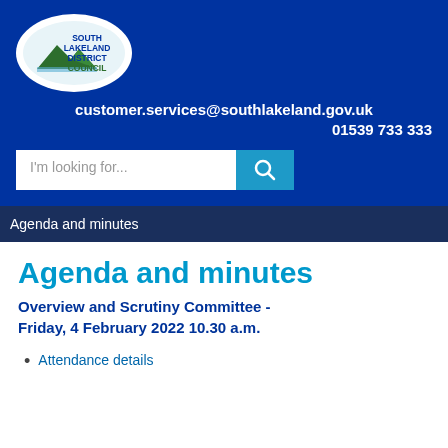[Figure (logo): South Lakeland District Council logo: white oval with mountain silhouette and council name in blue and green text]
customer.services@southlakeland.gov.uk
01539 733 333
[Figure (other): Search bar with placeholder text 'I'm looking for...' and teal search button with magnifying glass icon]
Agenda and minutes
Agenda and minutes
Overview and Scrutiny Committee - Friday, 4 February 2022 10.30 a.m.
Attendance details